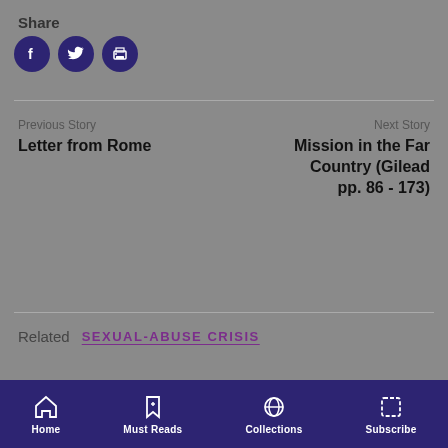Share
[Figure (infographic): Three social share icon buttons: Facebook (f), Twitter (bird), Print (printer), all dark navy circular buttons]
Previous Story
Letter from Rome
Next Story
Mission in the Far Country (Gilead pp. 86 - 173)
Related  SEXUAL-ABUSE CRISIS
Home  Must Reads  Collections  Subscribe